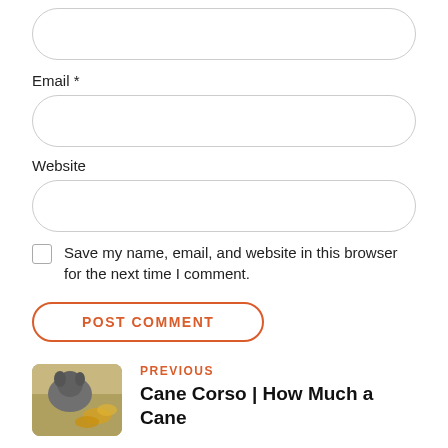Email *
Website
Save my name, email, and website in this browser for the next time I comment.
POST COMMENT
PREVIOUS
Cane Corso | How Much a Cane